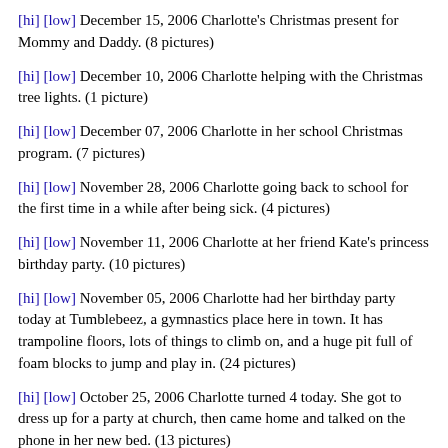[hi] [low] December 15, 2006 Charlotte's Christmas present for Mommy and Daddy. (8 pictures)
[hi] [low] December 10, 2006 Charlotte helping with the Christmas tree lights. (1 picture)
[hi] [low] December 07, 2006 Charlotte in her school Christmas program. (7 pictures)
[hi] [low] November 28, 2006 Charlotte going back to school for the first time in a while after being sick. (4 pictures)
[hi] [low] November 11, 2006 Charlotte at her friend Kate's princess birthday party. (10 pictures)
[hi] [low] November 05, 2006 Charlotte had her birthday party today at Tumblebeez, a gymnastics place here in town. It has trampoline floors, lots of things to climb on, and a huge pit full of foam blocks to jump and play in. (24 pictures)
[hi] [low] October 25, 2006 Charlotte turned 4 today. She got to dress up for a party at church, then came home and talked on the phone in her new bed. (13 pictures)
[hi] [low] October 18, 2006 Charlotte showing off her new outfit. (3 pictures)